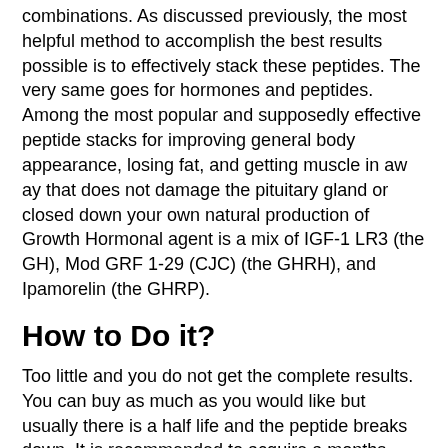combinations. As discussed previously, the most helpful method to accomplish the best results possible is to effectively stack these peptides. The very same goes for hormones and peptides.
Among the most popular and supposedly effective peptide stacks for improving general body appearance, losing fat, and getting muscle in aw ay that does not damage the pituitary gland or closed down your own natural production of Growth Hormonal agent is a mix of IGF-1 LR3 (the GH), Mod GRF 1-29 (CJC) (the GHRH), and Ipamorelin (the GHRP).
How to Do it?
Too little and you do not get the complete results. You can buy as much as you would like but usually there is a half life and the peptide breaks down. It is recommended to acquire a months worth (cycle) of peptides at a time.
When you have both the bacteriostatic water and peptide vial, you can utilize this calculator to figure out just how